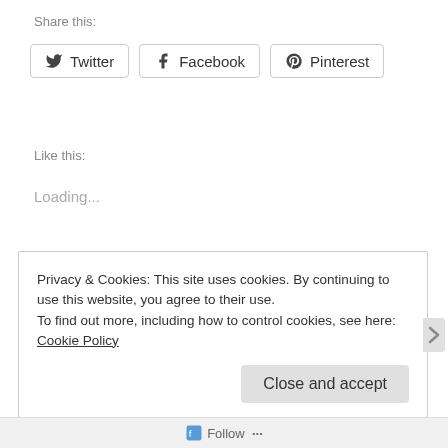Share this:
[Figure (screenshot): Social share buttons: Twitter, Facebook, Pinterest with icons]
Like this:
Loading...
alaska
carrot
healthy
horseradish
recipe
salad
Privacy & Cookies: This site uses cookies. By continuing to use this website, you agree to their use. To find out more, including how to control cookies, see here: Cookie Policy
Close and accept